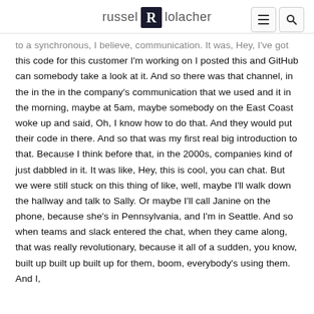russel R lolacher
to a synchronous, I believe, communication. It was, Hey, I've got this code for this customer I'm working on I posted this and GitHub can somebody take a look at it. And so there was that channel, in the in the in the company's communication that we used and it in the morning, maybe at 5am, maybe somebody on the East Coast woke up and said, Oh, I know how to do that. And they would put their code in there. And so that was my first real big introduction to that. Because I think before that, in the 2000s, companies kind of just dabbled in it. It was like, Hey, this is cool, you can chat. But we were still stuck on this thing of like, well, maybe I'll walk down the hallway and talk to Sally. Or maybe I'll call Janine on the phone, because she's in Pennsylvania, and I'm in Seattle. And so when teams and slack entered the chat, when they came along, that was really revolutionary, because it all of a sudden, you know, built up built up built up for them, boom, everybody's using them. And I,